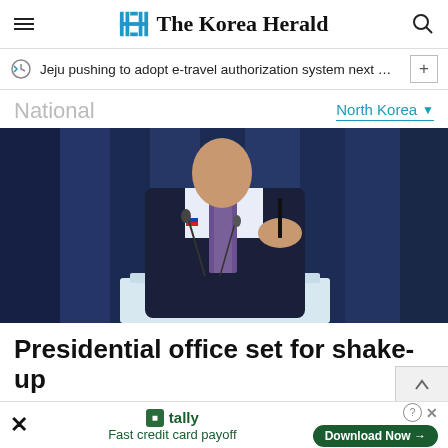The Korea Herald
Jeju pushing to adopt e-travel authorization system next month f…
National
North Korea
[Figure (photo): Man in dark suit at podium holding pen, with microphone, dark blue curtain background]
Presidential office set for shake-up
tally Fast credit card payoff Download Now →